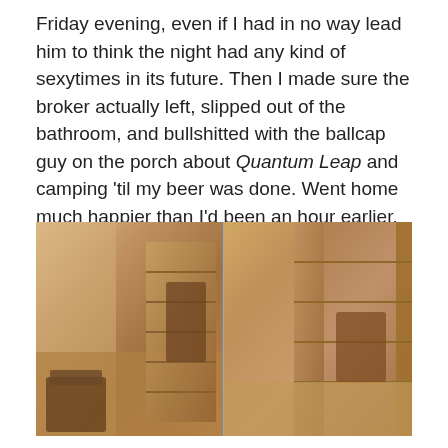Friday evening, even if I had in no way lead him to think the night had any kind of sexytimes in its future. Then I made sure the broker actually left, slipped out of the bathroom, and bullshitted with the ballcap guy on the porch about Quantum Leap and camping 'til my beer was done. Went home much happier than I'd been an hour earlier. Sneaky I guess but so much better.
[Figure (photo): Two side-by-side vintage-style photographs in warm brown/orange tones showing a woman in a residential interior setting with wooden stairs and furniture.]